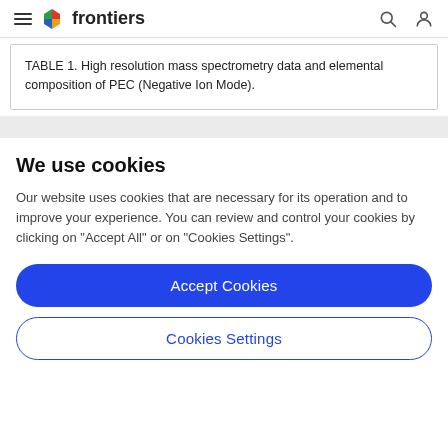frontiers
TABLE 1. High resolution mass spectrometry data and elemental composition of PEC (Negative Ion Mode).
We use cookies
Our website uses cookies that are necessary for its operation and to improve your experience. You can review and control your cookies by clicking on "Accept All" or on "Cookies Settings".
Accept Cookies
Cookies Settings